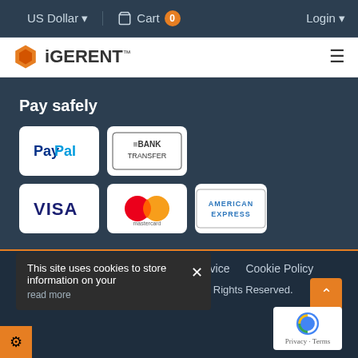US Dollar ▾   🛒 Cart 0   Login ▾
[Figure (logo): iGERENT logo with orange hexagon icon and text]
Pay safely
[Figure (infographic): Payment method icons: PayPal, Bank Transfer, Visa, Mastercard, American Express]
Privacy Policy   Terms of Use and Service   Cookie Policy
@2020 iGERENT SM (iGERENT LLC.) All Rights Reserved.
This site uses cookies to store information on your  read more